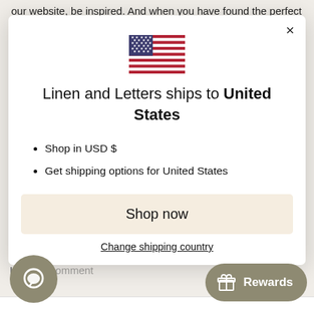our website, be inspired. And when you have found the perfect look for your home, message Jacq to create a made-
[Figure (screenshot): Modal dialog showing US flag, shipping info for United States, shop now button, and change shipping country link]
Shop in USD $
Get shipping options for United States
Shop now
Change shipping country
Leave a comment
[Figure (other): Chat bubble icon button (dark olive circle with chat icon)]
[Figure (other): Rewards button (dark olive pill shape with gift icon and 'Rewards' text)]